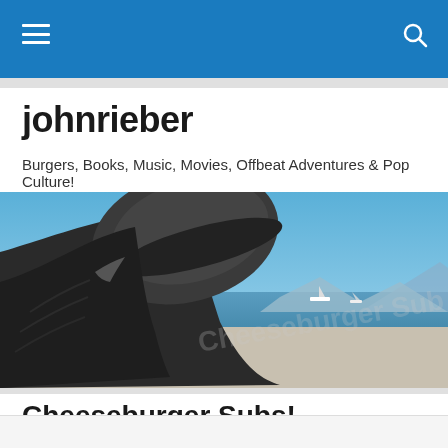Navigation bar with hamburger menu and search icon
johnrieber
Burgers, Books, Music, Movies, Offbeat Adventures & Pop Culture!
[Figure (photo): A close-up photo of a statue's feet/shoes reclining with a view of the sea, boats, and distant mountains under a blue sky]
Cheeseburger Subs!
Cheeseburger Subs! — Follow button and more options (...)